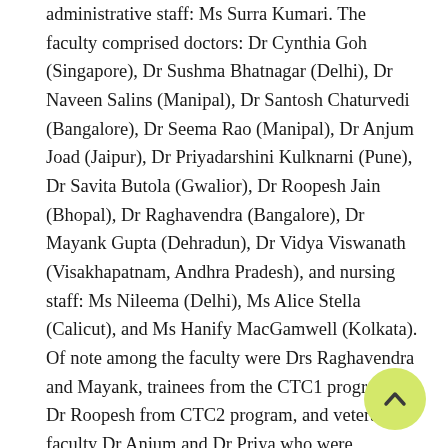administrative staff: Ms Surra Kumari. The faculty comprised doctors: Dr Cynthia Goh (Singapore), Dr Sushma Bhatnagar (Delhi), Dr Naveen Salins (Manipal), Dr Santosh Chaturvedi (Bangalore), Dr Seema Rao (Manipal), Dr Anjum Joad (Jaipur), Dr Priyadarshini Kulknarni (Pune), Dr Savita Butola (Gwalior), Dr Roopesh Jain (Bhopal), Dr Raghavendra (Bangalore), Dr Mayank Gupta (Dehradun), Dr Vidya Viswanath (Visakhapatnam, Andhra Pradesh), and nursing staff: Ms Nileema (Delhi), Ms Alice Stella (Calicut), and Ms Hanify MacGamwell (Kolkata). Of note among the faculty were Drs Raghavendra and Mayank, trainees from the CTC1 program, Dr Roopesh from CTC2 program, and veteran faculty Dr Anjum and Dr Priya who were graduates from the Flinders Course run by the APHN in Singapore from 2005 to 2009.
[Figure (other): Scroll-to-top button: a circular yellow-green button with an upward-pointing chevron arrow icon]